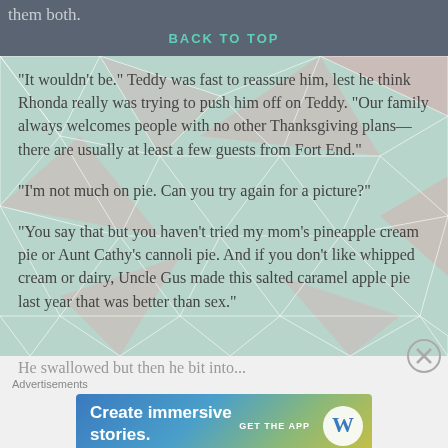them both.
BACK TO TOP
“It wouldn’t be.” Teddy was fast to reassure him, lest he think Rhonda really was trying to push him off on Teddy. “Our family always welcomes people with no other Thanksgiving plans—there are usually at least a few guests from Fort End.”
“I’m not much on pie. Can you try again for a picture?”
“You say that but you haven’t tried my mom’s pineapple cream pie or Aunt Cathy’s cannoli pie. And if you don’t like whipped cream or dairy, Uncle Gus made this salted caramel apple pie last year that was better than sex.”
[Figure (other): WordPress advertisement banner: 'Create immersive stories. GET THE APP' with WordPress logo]
Advertisements